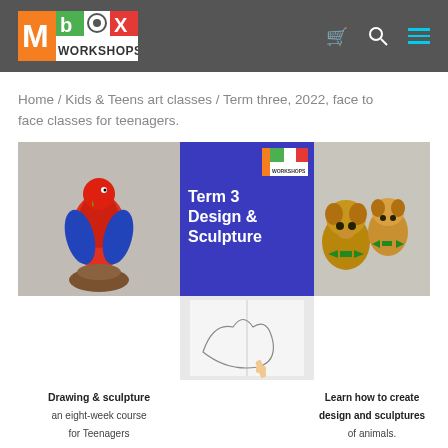ibox WORKSHOPS — navigation header with logo, cart, search, and menu icons
Home / Kids & Teens art classes / Term three, 2022, face to face classes for teenagers.
[Figure (photo): Collage image showing a ceramic parrot sculpture on the left, a blue panel in the center with ibox Workshops logo and text 'Term 3 Design & Sculpture', and two painted dog sculptures on the right. Below the blue panel is a photo of a hand drawing an animal on paper.]
Drawing & sculpture an eight-week course for Teenagers
Learn how to create design and sculptures of animals.
Term three, 2022, face to